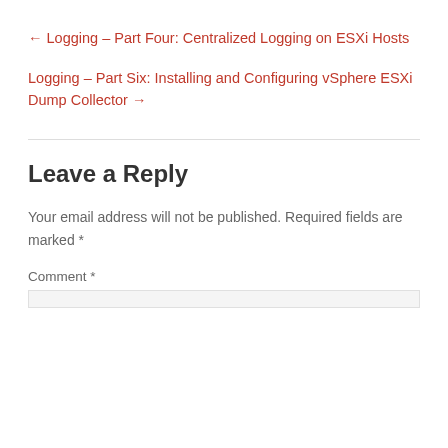← Logging – Part Four: Centralized Logging on ESXi Hosts
Logging – Part Six: Installing and Configuring vSphere ESXi Dump Collector →
Leave a Reply
Your email address will not be published. Required fields are marked *
Comment *